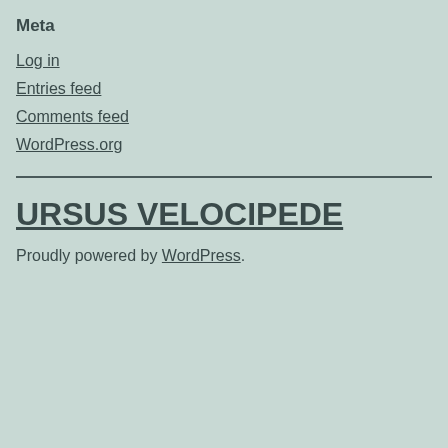Meta
Log in
Entries feed
Comments feed
WordPress.org
URSUS VELOCIPEDE
Proudly powered by WordPress.